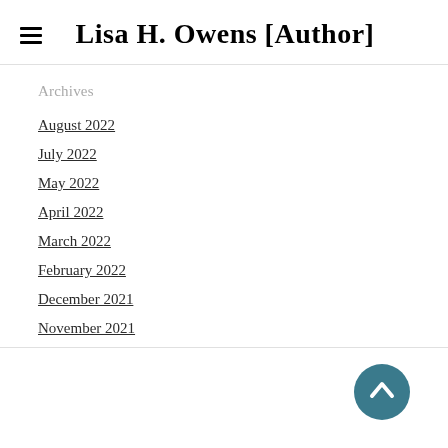Lisa H. Owens [Author]
Archives
August 2022
July 2022
May 2022
April 2022
March 2022
February 2022
December 2021
November 2021